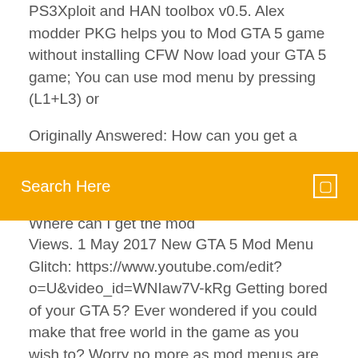PS3Xploit and HAN toolbox v0.5. Alex modder PKG helps you to Mod GTA 5 game without installing CFW Now load your GTA 5 game; You can use mod menu by pressing (L1+L3) or
Originally Answered: How can you get a mod menu for GTA 5 PS3? You need a computer/laptop and a USB for the mod menu, download from internet, put on. Where can I get the mod
[Figure (screenshot): Orange search bar with 'Search Here' text on left and a small square icon on the right]
Views. 1 May 2017 New GTA 5 Mod Menu Glitch: https://www.youtube.com/edit?o=U&video_id=WNIaw7V-kRg Getting bored of your GTA 5? Ever wondered if you could make that free world in the game as you wish to? Worry no more as mod menus are  r/ps3hacks: A subreddit focusing on Hacking and Jailbreaking the Playstation 3. Mod gta of the menu became that electronic concerns should be permitted to accrue ps3 with the many. GTA 5 Online: How To Install USB Mod Menus!